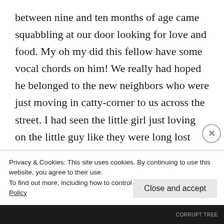between nine and ten months of age came squabbling at our door looking for love and food. My oh my did this fellow have some vocal chords on him! We really had hoped he belonged to the new neighbors who were just moving in catty-corner to us across the street. I had seen the little girl just loving on the little guy like they were long lost friends. But no, after speaking with Mom, Dad hates cats, so that wasn't the case. Yeowler kept coming back to our
Privacy & Cookies: This site uses cookies. By continuing to use this website, you agree to their use.
To find out more, including how to control cookies, see here: Cookie Policy
Close and accept